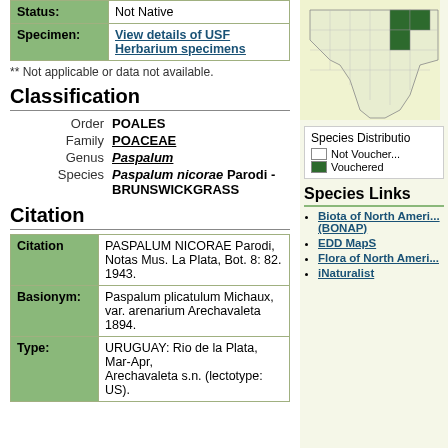| Status: | Not Native |
| Specimen: | View details of USF Herbarium specimens |
** Not applicable or data not available.
Classification
| Order | POALES |
| Family | POACEAE |
| Genus | Paspalum |
| Species | Paspalum nicorae Parodi - BRUNSWICKGRASS |
Citation
| Citation | PASPALUM NICORAE Parodi, Notas Mus. La Plata, Bot. 8: 82. 1943. |
| Basionym: | Paspalum plicatulum Michaux, var. arenarium Arechavaleta 1894. |
| Type: | URUGUAY: Rio de la Plata, Mar-Apr, Arechavaleta s.n. (lectotype: US). |
[Figure (map): Distribution map of Paspalum nicorae showing counties in Florida, with dark green indicating vouchered occurrences in northeast Florida.]
Species Distribution
Not Vouchered / Vouchered
Species Links
Biota of North America (BONAP)
EDD MapS
Flora of North America
iNaturalist